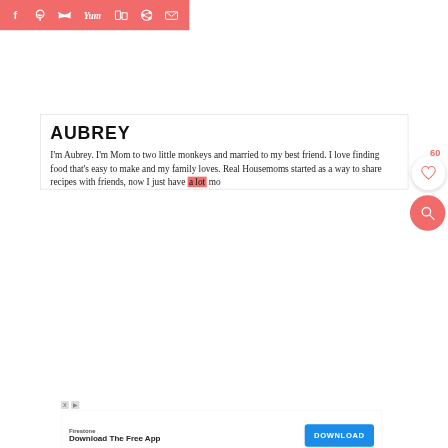Social sharing bar with icons: Facebook, Pinterest, Twitter, Yummly, Flipboard, Reddit, Email
AUBREY
I'm Aubrey. I'm Mom to two little monkeys and married to my best friend. I love finding food that's easy to make and my family loves. Real Housemoms started as a way to share recipes with friends, now I just have a lot mo[re]
[Figure (other): Advertisement banner: Firestone - Download The Free App, with a blue DOWNLOAD button]
60